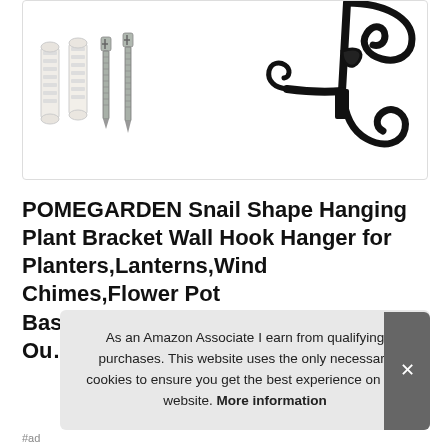[Figure (photo): Product photo showing wall mounting screws and anchors on the left side, and a black decorative wrought-iron snail-shaped hanging plant bracket on the right side, against a white background inside a bordered box.]
POMEGARDEN Snail Shape Hanging Plant Bracket Wall Hook Hanger for Planters,Lanterns,Wind Chimes,Flower Pot Baskets,Decorative Plants,Bird Fe... Ou...
As an Amazon Associate I earn from qualifying purchases. This website uses the only necessary cookies to ensure you get the best experience on our website. More information
#ad